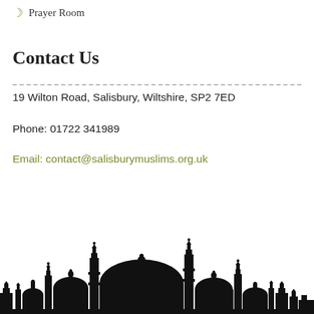Prayer Room
Contact Us
19 Wilton Road, Salisbury, Wiltshire, SP2 7ED
Phone: 01722 341989
Email: contact@salisburymuslims.org.uk
[Figure (illustration): Black silhouette skyline of mosque minarets and domes along the bottom of the page]